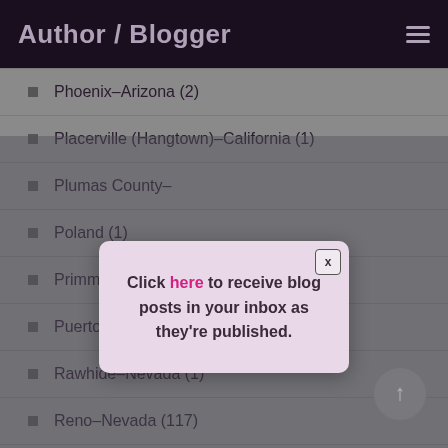Author / Blogger
Phoenix–Arizona (2)
Placerville (Hangtown)–California (1)
Plumas County–
Poland (1)
Primm–Nevada
Puerto Rico (1)
Rawhide–Nevada (1)
Reno–Nevada (117)
[Figure (screenshot): Modal popup with close button X and text: Click here to receive blog posts in your inbox as they're published. Pink/lavender background with decorative image.]